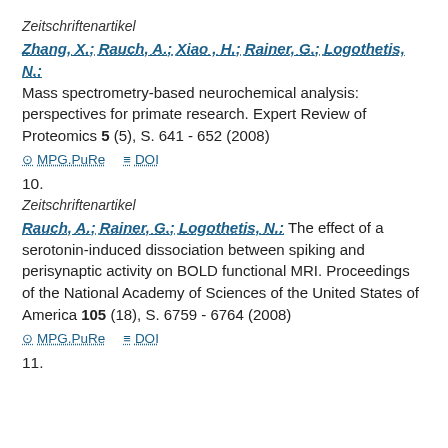Zeitschriftenartikel
Zhang, X.; Rauch, A.; Xiao , H.; Rainer, G.; Logothetis, N.: Mass spectrometry-based neurochemical analysis: perspectives for primate research. Expert Review of Proteomics 5 (5), S. 641 - 652 (2008)
MPG.PuRe   DOI
10.
Zeitschriftenartikel
Rauch, A.; Rainer, G.; Logothetis, N.: The effect of a serotonin-induced dissociation between spiking and perisynaptic activity on BOLD functional MRI. Proceedings of the National Academy of Sciences of the United States of America 105 (18), S. 6759 - 6764 (2008)
MPG.PuRe   DOI
11.